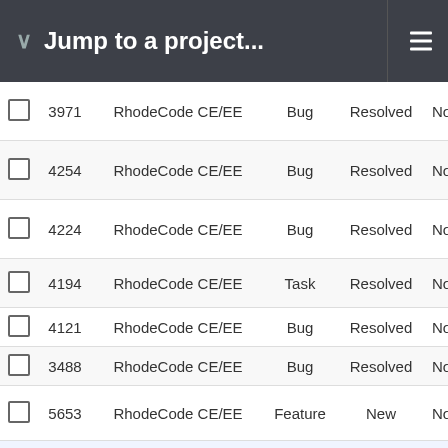Jump to a project...
|  | ID | Project | Type | Status | Priority |
| --- | --- | --- | --- | --- | --- |
|  | 3971 | RhodeCode CE/EE | Bug | Resolved | Nor |
|  | 4254 | RhodeCode CE/EE | Bug | Resolved | Nor |
|  | 4224 | RhodeCode CE/EE | Bug | Resolved | Nor |
|  | 4194 | RhodeCode CE/EE | Task | Resolved | Nor |
|  | 4121 | RhodeCode CE/EE | Bug | Resolved | Nor |
|  | 3488 | RhodeCode CE/EE | Bug | Resolved | Nor |
|  | 5653 | RhodeCode CE/EE | Feature | New | Nor |
|  | 5442 | RhodeCode CE/EE | Feature | Resolved | Lo |